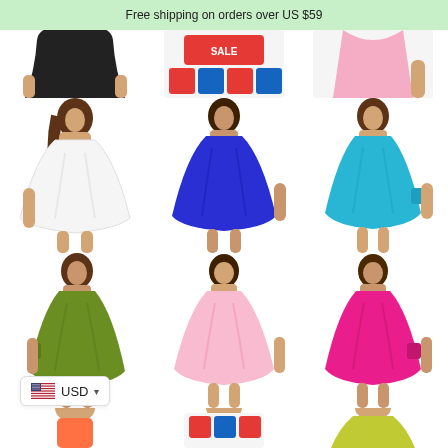Free shipping on orders over US $59
[Figure (photo): Grid of women's sleeveless casual swing dresses in multiple colors: black (cropped), red/multicolor (cropped), pink/multicolor (cropped), white, royal blue, sky blue, olive green, light pink, hot pink, and two more partially cropped at bottom]
USD